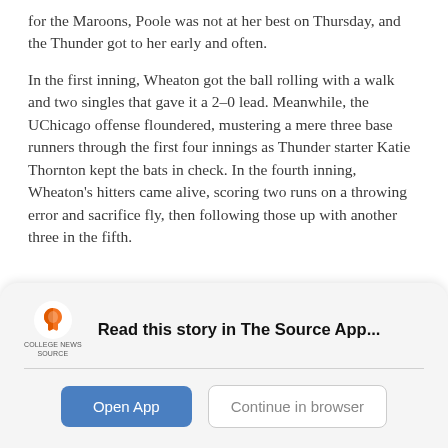for the Maroons, Poole was not at her best on Thursday, and the Thunder got to her early and often.
In the first inning, Wheaton got the ball rolling with a walk and two singles that gave it a 2–0 lead. Meanwhile, the UChicago offense floundered, mustering a mere three base runners through the first four innings as Thunder starter Katie Thornton kept the bats in check. In the fourth inning, Wheaton's hitters came alive, scoring two runs on a throwing error and sacrifice fly, then following those up with another three in the fifth.
Read this story in The Source App...
Open App
Continue in browser